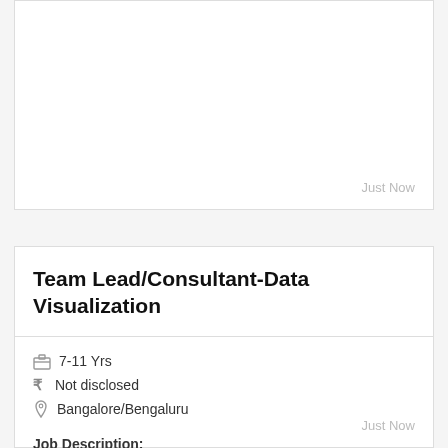Just Now
Team Lead/Consultant-Data Visualization
7-11 Yrs
Not disclosed
Bangalore/Bengaluru
Job Description:
You are required to understand the strategic direction set by...
Just Now